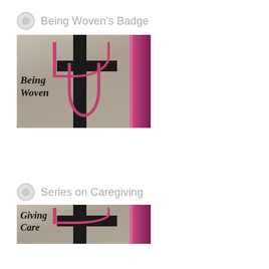Being Woven's Badge
[Figure (photo): A photo of a woven tapestry/textile artwork titled 'Being Woven', showing grey woven fabric background with a black cross shape, pink/magenta decorative swirling elements on the right side, and the text 'Being Woven' in italic script on the left.]
Series on Caregiving
[Figure (photo): A partial photo of a woven tapestry artwork titled 'Giving Care', similar style to the Being Woven image with grey woven fabric, black cross, and pink/magenta elements. Only the top portion is visible showing 'Giving Care' text.]